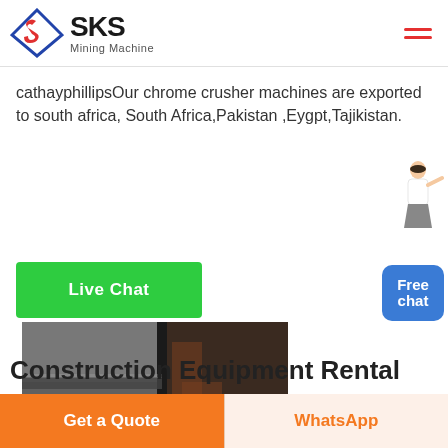[Figure (logo): SKS Mining Machine logo with diamond-shaped icon and text]
cathayphillipsOur chrome crusher machines are exported to south africa, South Africa,Pakistan ,Eygpt,Tajikistan.
[Figure (illustration): Green Live Chat button]
[Figure (illustration): Blue Free chat button with assistant image]
[Figure (photo): Close-up photo of mining/crusher machine parts showing metal surfaces]
Construction Equipment Rental
[Figure (other): Orange Get a Quote button and WhatsApp button at the bottom]